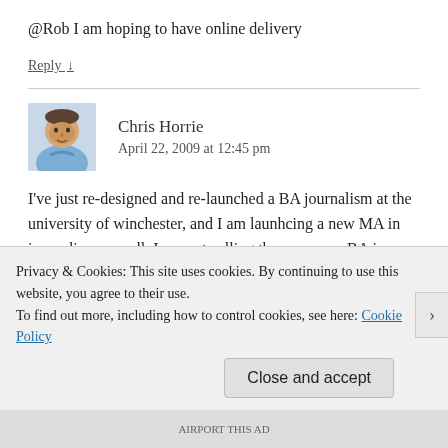@Rob I am hoping to have online delivery
Reply ↓
Chris Horrie
April 22, 2009 at 12:45 pm
[Figure (photo): Avatar photo of Chris Horrie, a middle-aged man in a light blue shirt]
I've just re-designed and re-launched a BA journalism at the university of winchester, and I am launhcing a new MA in journalism as well. I am not calling these courses BA in online journalism or MA in online journalism because it is...
Privacy & Cookies: This site uses cookies. By continuing to use this website, you agree to their use.
To find out more, including how to control cookies, see here: Cookie Policy
Close and accept